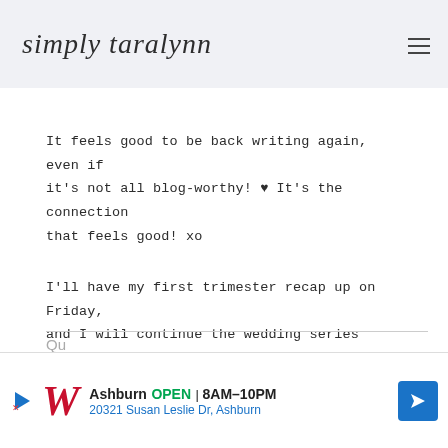simply taralynn
It feels good to be back writing again, even if it's not all blog-worthy! ♥ It's the connection that feels good! xo
I'll have my first trimester recap up on Friday, and I will continue the wedding series soon! xo
[Figure (screenshot): Walgreens advertisement banner: Ashburn OPEN 8AM-10PM, 20321 Susan Leslie Dr, Ashburn]